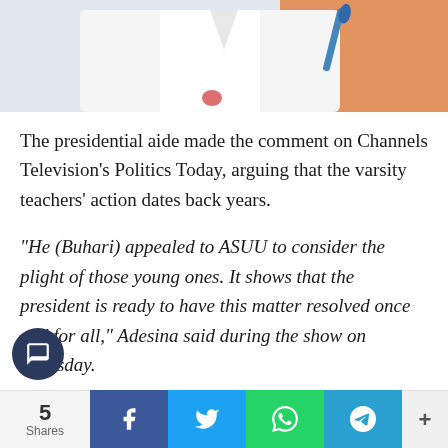[Figure (photo): Top portion of a person in a white shirt with an orange background and a blue microphone visible]
The presidential aide made the comment on Channels Television’s Politics Today, arguing that the varsity teachers’ action dates back years.
“He (Buhari) appealed to ASUU to consider the plight of those young ones. It shows that the president is ready to have this matter resolved once and for all,” Adesina said during the show on Thursday.